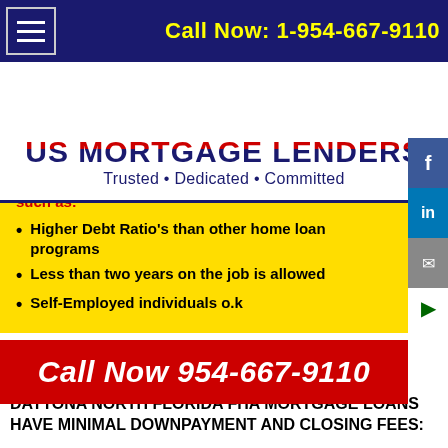Call Now: 1-954-667-9110
US MORTGAGE LENDERS
Trusted • Dedicated • Committed
after a Foreclosure
Easier Debt Ration & Job Requirement Guidelines such as:
Higher Debt Ratio's than other home loan programs
Less than two years on the job is allowed
Self-Employed individuals o.k
Call Now 954-667-9110
DAYTONA NORTH FLORIDA FHA MORTGAGE LOANS HAVE MINIMAL DOWNPAYMENT AND CLOSING FEES: